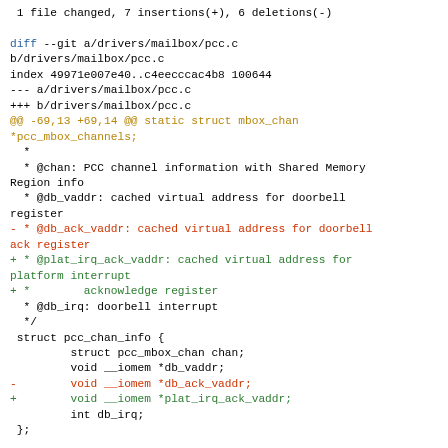1 file changed, 7 insertions(+), 6 deletions(-)

diff --git a/drivers/mailbox/pcc.c b/drivers/mailbox/pcc.c
index 49971e007e40..c4eecccac4b8 100644
--- a/drivers/mailbox/pcc.c
+++ b/drivers/mailbox/pcc.c
@@ -69,13 +69,14 @@ static struct mbox_chan *pcc_mbox_channels;
 *
 * @chan: PCC channel information with Shared Memory Region info
 * @db_vaddr: cached virtual address for doorbell register
- * @db_ack_vaddr: cached virtual address for doorbell ack register
+ * @plat_irq_ack_vaddr: cached virtual address for platform interrupt
+ *        acknowledge register
 * @db_irq: doorbell interrupt
 */
 struct pcc_chan_info {
         struct pcc_mbox_chan chan;
         void __iomem *db_vaddr;
-        void __iomem *db_ack_vaddr;
+        void __iomem *plat_irq_ack_vaddr;
         int db_irq;
 };

@@ -198,12 +199,12 @@ static irqreturn_t
pcc_mbox_irq(int irq, void *p)